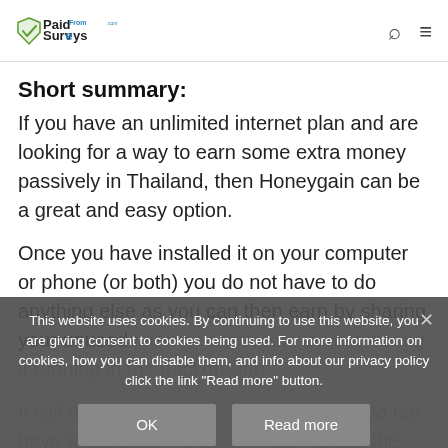Paid From Surveys .com
Short summary:
If you have an unlimited internet plan and are looking for a way to earn some extra money passively in Thailand, then Honeygain can be a great and easy option.
Once you have installed it on your computer or phone (or both) you do not have to do anything else as you can then earn by sharing your unused internet bandwidth by just having it running in the background.
It will not give you a lot, but you also do not have to do anything since it goes through the invitation link to also get a joining bonus into your account right away.
This website uses cookies. By continuing to use this website, you are giving consent to cookies being used. For more information on cookies, how you can disable them, and info about our privacy policy click the link "Read more" button.